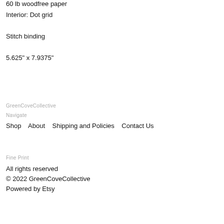60 lb woodfree paper
Interior: Dot grid
Stitch binding
5.625" x 7.9375"
GreenCoveCollective
Navigate
Shop    About    Shipping and Policies    Contact Us
Fine Print
All rights reserved
© 2022 GreenCoveCollective
Powered by Etsy